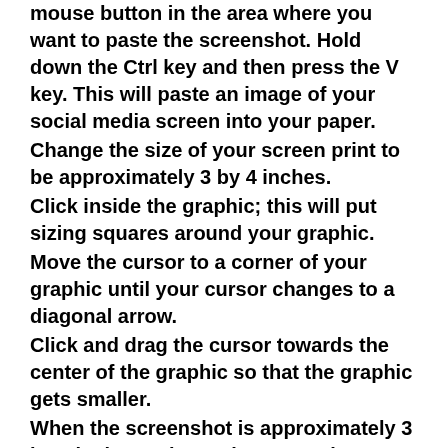mouse button in the area where you want to paste the screenshot. Hold down the Ctrl key and then press the V key. This will paste an image of your social media screen into your paper. Change the size of your screen print to be approximately 3 by 4 inches. Click inside the graphic; this will put sizing squares around your graphic. Move the cursor to a corner of your graphic until your cursor changes to a diagonal arrow. Click and drag the cursor towards the center of the graphic so that the graphic gets smaller. When the screenshot is approximately 3 by 4 inches, release the mouse button. Write a two- to three-page paper in Word format (not counting title and reference page). Apply APA standards to citation of sources. Include an APA formatted title page and reference page. You may use this APA formatted template. Follow this link for more information about APA standards. Use the following